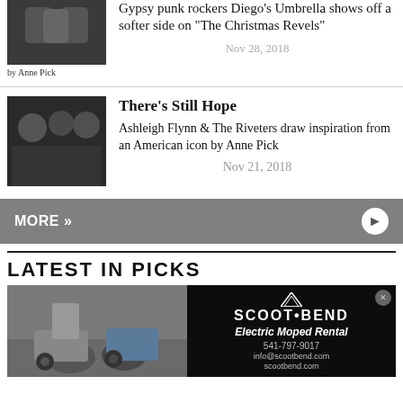[Figure (photo): Band photo of Diego's Umbrella, dark background]
by Anne Pick
Gypsy punk rockers Diego's Umbrella shows off a softer side on "The Christmas Revels"
Nov 28, 2018
[Figure (photo): Photo of Ashleigh Flynn & The Riveters group of women in dark clothing]
There's Still Hope
Ashleigh Flynn & The Riveters draw inspiration from an American icon by Anne Pick
Nov 21, 2018
MORE »
LATEST IN PICKS
[Figure (photo): Person with scooters/mopeds outdoors]
[Figure (advertisement): Scoot Bend Electric Moped Rental ad: 541-797-9017, info@scootbend.com, scootbend.com]